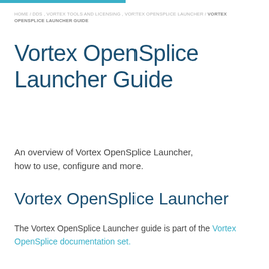HOME / DDS , VORTEX TOOLS AND LICENSING , VORTEX OPENSPLICE LAUNCHER / VORTEX OPENSPLICE LAUNCHER GUIDE
Vortex OpenSplice Launcher Guide
An overview of Vortex OpenSplice Launcher, how to use, configure and more.
Vortex OpenSplice Launcher
The Vortex OpenSplice Launcher guide is part of the Vortex OpenSplice documentation set.